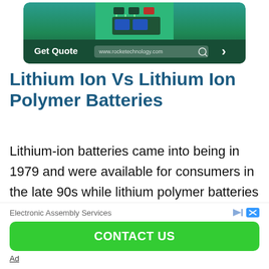[Figure (screenshot): Advertisement banner with dark green background showing a circuit board, 'Get Quote' text, a URL bar, and a right arrow button]
Lithium Ion Vs Lithium Ion Polymer Batteries
Lithium-ion batteries came into being in 1979 and were available for consumers in the late 90s while lithium polymer batteries came
into existence in the 90s. Li-ion batteries
[Figure (screenshot): Advertisement block with 'Electronic Assembly Services' text, play/close icons, a green 'CONTACT US' button, and 'Ad' label]